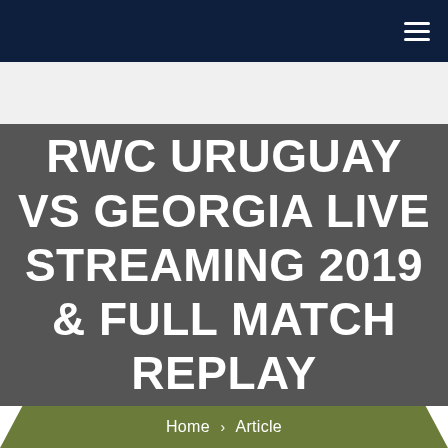Navigation bar with hamburger menu
RWC URUGUAY VS GEORGIA LIVE STREAMING 2019 & FULL MATCH REPLAY
Home > Article